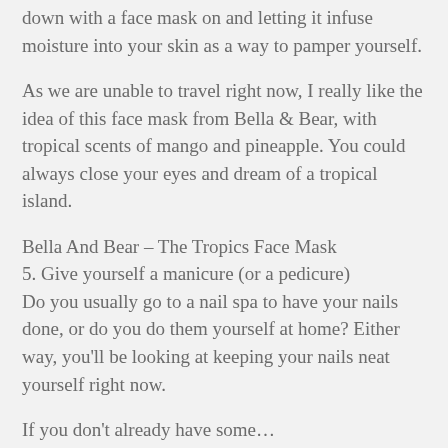down with a face mask on and letting it infuse moisture into your skin as a way to pamper yourself.
As we are unable to travel right now, I really like the idea of this face mask from Bella & Bear, with tropical scents of mango and pineapple. You could always close your eyes and dream of a tropical island.
Bella And Bear – The Tropics Face Mask
5. Give yourself a manicure (or a pedicure)
Do you usually go to a nail spa to have your nails done, or do you do them yourself at home? Either way, you'll be looking at keeping your nails neat yourself right now.
If you don't already have some…